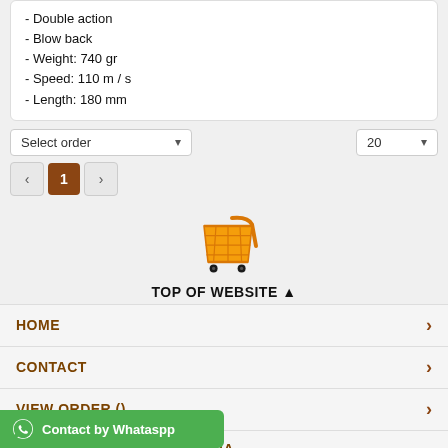- Double action
- Blow back
- Weight: 740 gr
- Speed: 110 m / s
- Length: 180 mm
Select order | 20
< 1 >
[Figure (illustration): Shopping cart icon in orange/yellow color]
TOP OF WEBSITE ▲
HOME >
CONTACT >
VIEW ORDER () >
ABOUT ACEROS DE HISPANIA
Contact by Whataspp